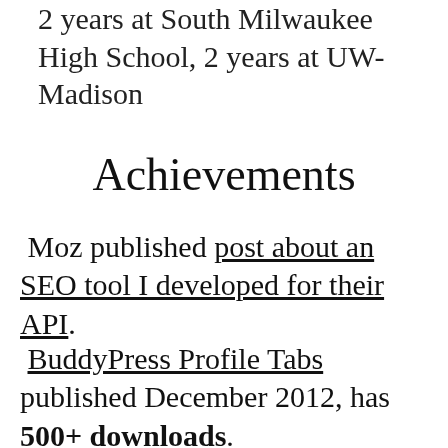2 years at South Milwaukee High School, 2 years at UW-Madison
Achievements
Moz published post about an SEO tool I developed for their API.
BuddyPress Profile Tabs published December 2012, has 500+ downloads.
Code Canyon published my